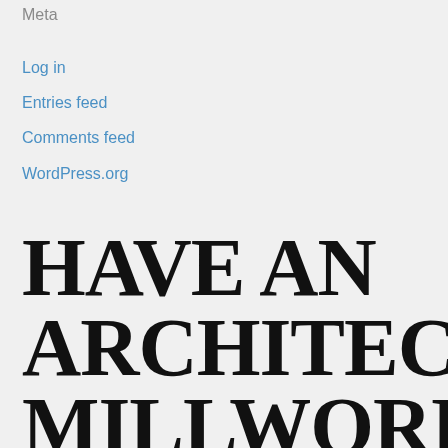Meta
Log in
Entries feed
Comments feed
WordPress.org
HAVE AN ARCHITECTURAL MILLWORK PROJECT IN MIND?